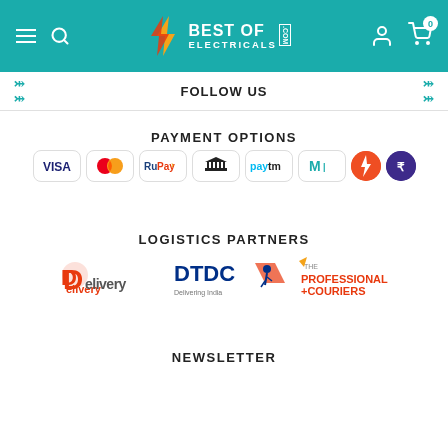[Figure (logo): Best of Electricals .com logo with lightning bolt in teal header navbar with hamburger menu, search icon, user icon, and cart icon]
FOLLOW US
PAYMENT OPTIONS
[Figure (infographic): Payment option icons: VISA, Mastercard, RuPay, Net Banking (building icon), Paytm, Mobikwik, Freecharge, PhonePe]
LOGISTICS PARTNERS
[Figure (infographic): Logistics partner logos: Delhivery, DTDC, The Professional Couriers]
NEWSLETTER
[Figure (screenshot): Email newsletter signup input box with placeholder text 'Enter your email here...' and an orange submit button with envelope icon]